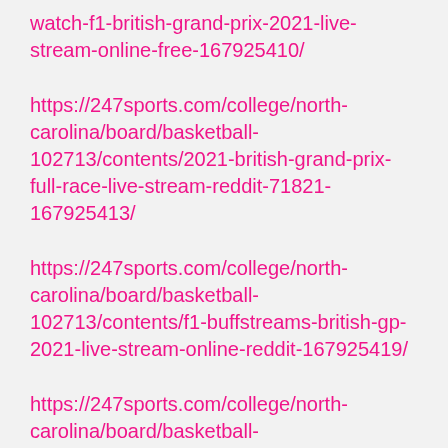watch-f1-british-grand-prix-2021-live-stream-online-free-167925410/
https://247sports.com/college/north-carolina/board/basketball-102713/contents/2021-british-grand-prix-full-race-live-stream-reddit-71821-167925413/
https://247sports.com/college/north-carolina/board/basketball-102713/contents/f1-buffstreams-british-gp-2021-live-stream-online-reddit-167925419/
https://247sports.com/college/north-carolina/board/basketball-102713/contents/formula-1-streams-reddit-watch-formula-one-live-stream-reddit-167925424/
https://247sports.com/high-school/georgia/board/football-class-a-